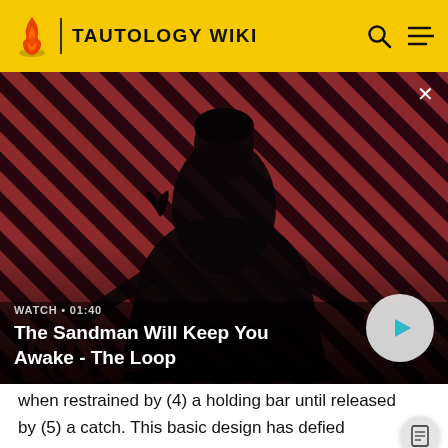TAUTOLOGY WIKI
[Figure (screenshot): Hero video thumbnail: dark-haired man in black coat with a raven on his shoulder, against a red and dark diagonal striped background. Text overlay: 'WATCH • 01:40' and title 'The Sandman Will Keep You Awake - The Loop'. A circular play button is visible on the right.]
WATCH • 01:40
The Sandman Will Keep You Awake - The Loop
when restrained by (4) a holding bar until released by (5) a catch. This basic design has defied attempts to simplify further, or to reduce its complexity. The significant feature is that with only four of the five parts one cannot catch 4/5ths as many mice! Its function depends on each of its essential elements, each of which involve